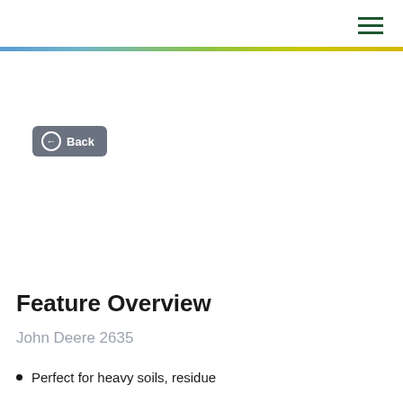Feature Overview
John Deere 2635
Perfect for heavy soils, residue